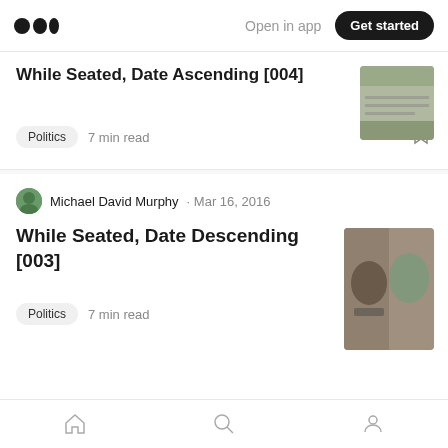Medium app header with logo, Open in app, Get started
While Seated, Date Ascending [004]
Politics · 7 min read
Michael David Murphy · Mar 16, 2016
While Seated, Date Descending [003]
Politics · 7 min read
Read more from While Seated
Bottom navigation: Home, Search, Profile